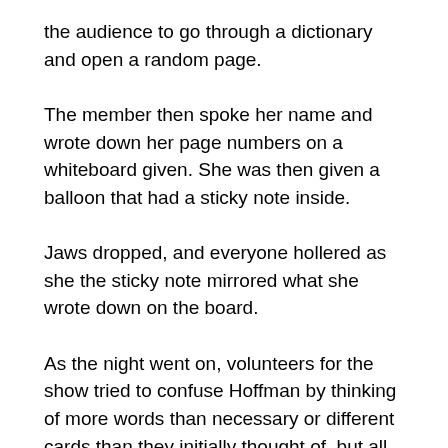the audience to go through a dictionary and open a random page.
The member then spoke her name and wrote down her page numbers on a whiteboard given. She was then given a balloon that had a sticky note inside.
Jaws dropped, and everyone hollered as she the sticky note mirrored what she wrote down on the board.
As the night went on, volunteers for the show tried to confuse Hoffman by thinking of more words than necessary or different cards than they initially thought of, but all failed.
“I felt like an idiot when he knit picked things I was doing subconsciously,” Malak Alrubale said in regards to a card-guessing game where Hoffman proved he could find people’s